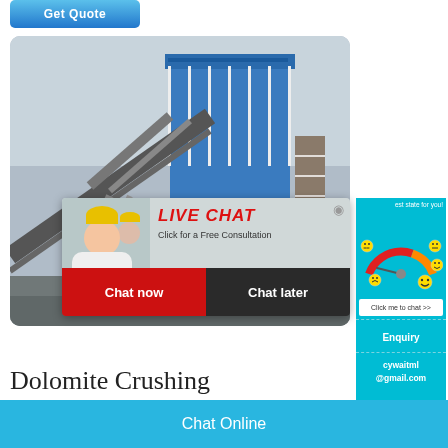[Figure (screenshot): Blue Get Quote button at top left]
[Figure (photo): Industrial machinery / conveyor belt crushing equipment photo with workers in yellow helmets]
[Figure (screenshot): Live chat popup overlay with red LIVE CHAT title, 'Click for a Free Consultation' text, Chat now (red) and Chat later (dark) buttons]
[Figure (screenshot): Right side satisfaction gauge widget on cyan background with emoji faces, 'Click me to chat >>' button, Enquiry section, and cywaitml@gmail.com email]
Dolomite Crushing
Chat Online